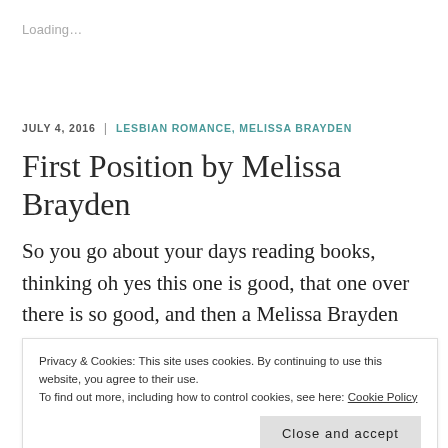Loading…
JULY 4, 2016  |  LESBIAN ROMANCE, MELISSA BRAYDEN
First Position by Melissa Brayden
So you go about your days reading books, thinking oh yes this one is good, that one over there is so good, and then a Melissa Brayden comes along making
Privacy & Cookies: This site uses cookies. By continuing to use this website, you agree to their use.
To find out more, including how to control cookies, see here: Cookie Policy
Close and accept
the can do the Shopping Cart and the Lawnmower